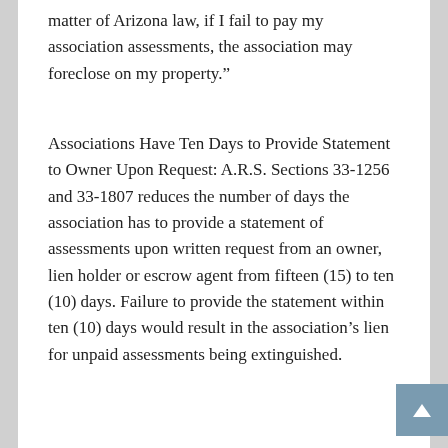matter of Arizona law, if I fail to pay my association assessments, the association may foreclose on my property.”
Associations Have Ten Days to Provide Statement to Owner Upon Request: A.R.S. Sections 33-1256 and 33-1807 reduces the number of days the association has to provide a statement of assessments upon written request from an owner, lien holder or escrow agent from fifteen (15) to ten (10) days. Failure to provide the statement within ten (10) days would result in the association’s lien for unpaid assessments being extinguished.